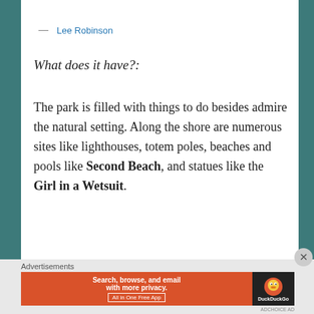[Figure (photo): Top portion of a nature/park photo showing green foliage and water, partially cropped]
— Lee Robinson
What does it have?:
The park is filled with things to do besides admire the natural setting. Along the shore are numerous sites like lighthouses, totem poles, beaches and pools like Second Beach, and statues like the Girl in a Wetsuit.
Advertisements
[Figure (screenshot): DuckDuckGo advertisement banner: Search, browse, and email with more privacy. All in One Free App]